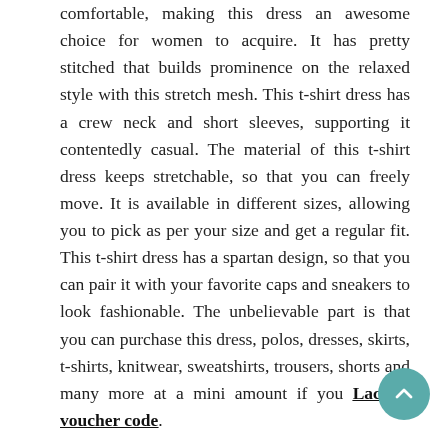comfortable, making this dress an awesome choice for women to acquire. It has pretty stitched that builds prominence on the relaxed style with this stretch mesh. This t-shirt dress has a crew neck and short sleeves, supporting it contentedly casual. The material of this t-shirt dress keeps stretchable, so that you can freely move. It is available in different sizes, allowing you to pick as per your size and get a regular fit. This t-shirt dress has a spartan design, so that you can pair it with your favorite caps and sneakers to look fashionable. The unbelievable part is that you can purchase this dress, polos, dresses, skirts, t-shirts, knitwear, sweatshirts, trousers, shorts and many more at a mini amount if you Lacoste voucher code.